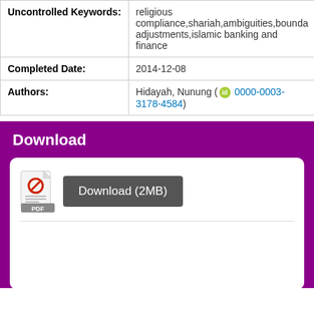| Field | Value |
| --- | --- |
| Uncontrolled Keywords: | religious compliance,shariah,ambiguities,bounda adjustments,islamic banking and finance |
| Completed Date: | 2014-12-08 |
| Authors: | Hidayah, Nunung (id 0000-0003-3178-4584) |
Download
[Figure (illustration): White rounded rectangle download panel containing a PDF file icon and a grey Download (2MB) button]